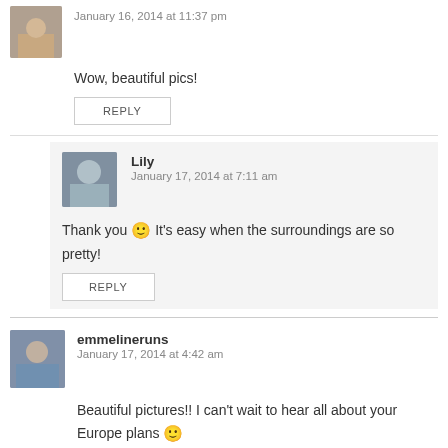January 16, 2014 at 11:37 pm
Wow, beautiful pics!
REPLY
Lily
January 17, 2014 at 7:11 am
Thank you 🙂 It's easy when the surroundings are so pretty!
REPLY
emmelineruns
January 17, 2014 at 4:42 am
Beautiful pictures!! I can't wait to hear all about your Europe plans 🙂